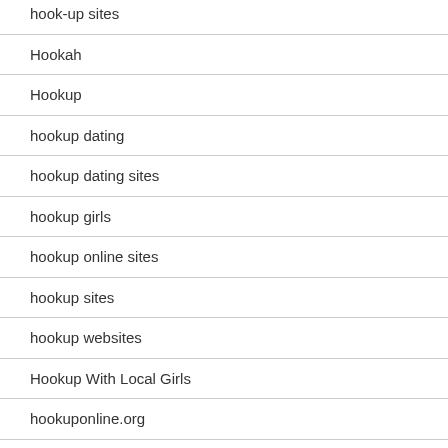hook-up sites
Hookah
Hookup
hookup dating
hookup dating sites
hookup girls
hookup online sites
hookup sites
hookup websites
Hookup With Local Girls
hookuponline.org
hot asian women